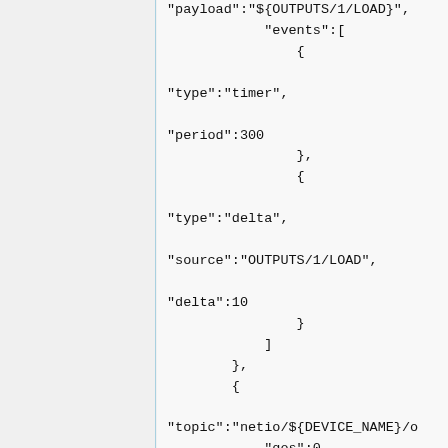"payload":"${OUTPUTS/1/LOAD}",
            "events":[
                {

"type":"timer",

"period":300
                },
                {

"type":"delta",

"source":"OUTPUTS/1/LOAD",

"delta":10
                }
            ]
        },
        {

"topic":"netio/${DEVICE_NAME}/o
            "qos":0,
            "retain":false,

"payload":"${OUTPUTS/1/ENERGY}